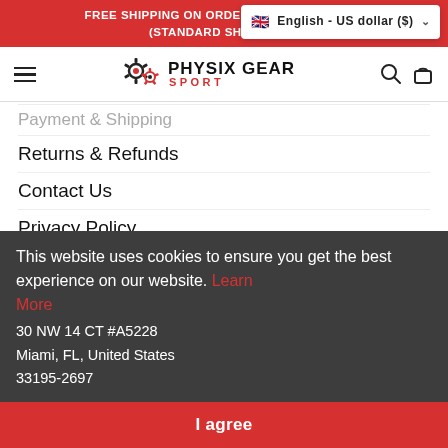FREE SHIPPING ON ORDERS $50 AND ABOVE* (STANDARD SHIPPI...
[Figure (logo): Physix Gear Sport logo with gear icons]
Payment & Shipping
Returns & Refunds
Contact Us
Privacy Policy
Terms & Condition
Contact
This website uses cookies to ensure you get the best experience on our website. Learn More
30 NW 14 CT #A5228
Miami, FL, United States
33195-2697
I agree